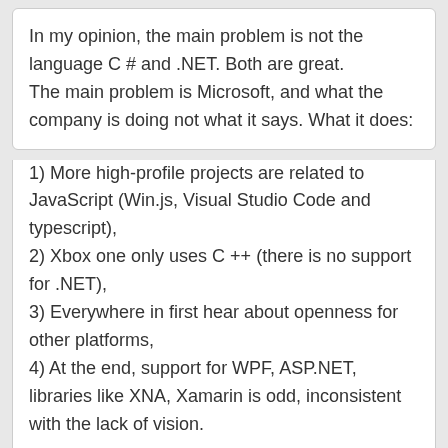In my opinion, the main problem is not the language C # and .NET. Both are great. The main problem is Microsoft, and what the company is doing not what it says. What it does:
1) More high-profile projects are related to JavaScript (Win.js, Visual Studio Code and typescript),
2) Xbox one only uses C ++ (there is no support for .NET),
3) Everywhere in first hear about openness for other platforms,
4) At the end, support for WPF, ASP.NET, libraries like XNA, Xamarin is odd, inconsistent with the lack of vision.
Phil — 6/25/2015 12:10:56 AM
Thanks Mateusz, I'd agree that Microsoft appear to be allowing more diversity of programming language on their platforms, and to add to your list the recent announcements about support